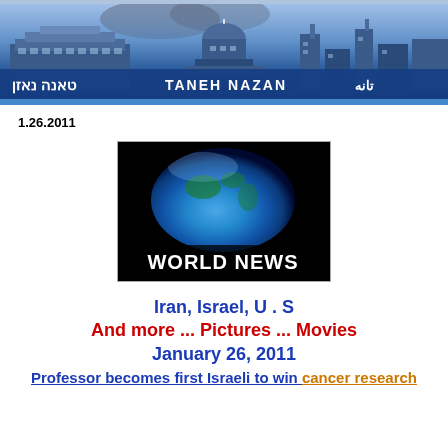[Figure (screenshot): Website banner for Taneh Nazan with multilingual text in Hebrew, Latin (TANEH NAZAN), and Arabic, shown over a blue cityscape background with government buildings]
1.26.2011
[Figure (screenshot): World News image showing a globe (Earth) on black background with bold white text 'WORLD NEWS']
Iran, Israel, U . S
And more ... Pictures ... Movies
January 26, 2011
Professor becomes first Israeli to win cancer research